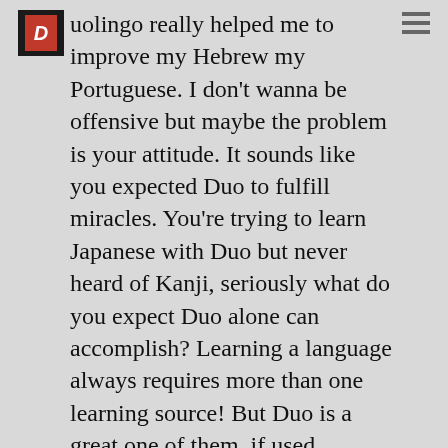Duolingo really helped me to improve my Hebrew my Portuguese. I don't wanna be offensive but maybe the problem is your attitude. It sounds like you expected Duo to fulfill miracles. You're trying to learn Japanese with Duo but never heard of Kanji, seriously what do you expect Duo alone can accomplish? Learning a language always requires more than one learning source! But Duo is a great one of them, if used properly!
Ibrahim Jul 13 2019: @Jan, If you learn Japanese with a teacher, isn't he responsible from telling you there is such thing as Kanji? Well, that's what Duolingo failed to do. Also the miraculous claims you mentioned are exactly the exact moto of Duolingo.